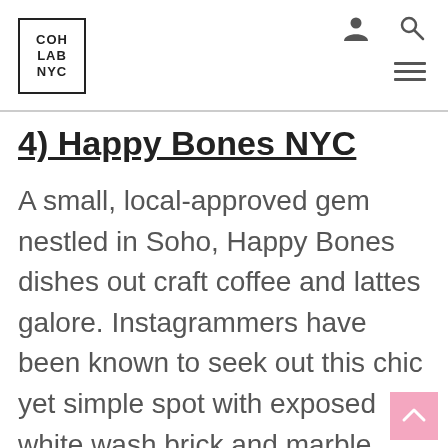[Figure (logo): COHLAB NYC logo in a bordered box]
4) Happy Bones NYC
A small, local-approved gem nestled in Soho, Happy Bones dishes out craft coffee and lattes galore. Instagrammers have been known to seek out this chic yet simple spot with exposed white wash brick and marble